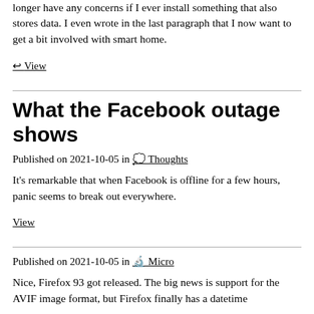longer have any concerns if I ever install something that also stores data. I even wrote in the last paragraph that I now want to get a bit involved with smart home.
↩ View
What the Facebook outage shows
Published on 2021-10-05 in 💭 Thoughts
It's remarkable that when Facebook is offline for a few hours, panic seems to break out everywhere.
View
Published on 2021-10-05 in 🔬 Micro
Nice, Firefox 93 got released. The big news is support for the AVIF image format, but Firefox finally has a datetime